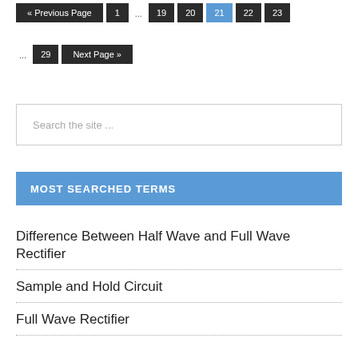« Previous Page  1  ...  19  20  21  22  23  ...  29  Next Page »
Search the site ...
MOST SEARCHED TERMS
Difference Between Half Wave and Full Wave Rectifier
Sample and Hold Circuit
Full Wave Rectifier